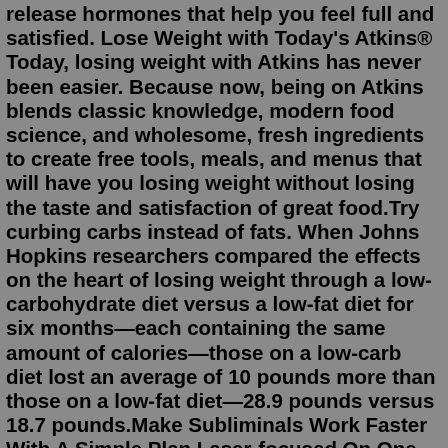release hormones that help you feel full and satisfied. Lose Weight with Today's Atkins® Today, losing weight with Atkins has never been easier. Because now, being on Atkins blends classic knowledge, modern food science, and wholesome, fresh ingredients to create free tools, meals, and menus that will have you losing weight without losing the taste and satisfaction of great food.Try curbing carbs instead of fats. When Johns Hopkins researchers compared the effects on the heart of losing weight through a low-carbohydrate diet versus a low-fat diet for six months—each containing the same amount of calories—those on a low-carb diet lost an average of 10 pounds more than those on a low-fat diet—28.9 pounds versus 18.7 pounds.Make Subliminals Work Faster With A Simple Plan Laser-focused On One Goal. 2. Listen To Subliminal Messages Just Before And During Sleep For Rapid Subliminal Results. 3. Use Binaural beats in the Theta Frequency Range (4 to 8 Hz) and accelerate your subliminal results. 4. Listen To Subliminal Messages With Headphones.If